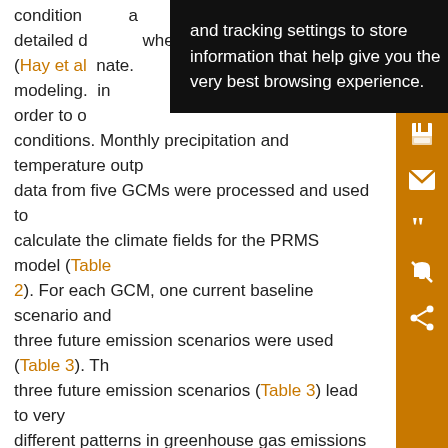condition... and tracking settings to store information that help give you the very best browsing experience. ...where (Hay et al. ...mate. modeling... in order to o... conditions. Monthly precipitation and temperature outp data from five GCMs were processed and used to calculate the climate fields for the PRMS model (Table 2). For each GCM, one current baseline scenario and three future emission scenarios were used (Table 3). The three future emission scenarios (Table 3) lead to very different patterns in greenhouse gas emissions and concentrations (Alley et al. 2007). The GCM output was obtained from the World Climate Research Programme's Coupled Model Intercomparison Project phase 3 (CMIP3) multimodel dataset archive (Alley et al. 2007).
[Figure (other): Dark tooltip/cookie consent popup overlay showing text: 'and tracking settings to store information that help give you the very best browsing experience.']